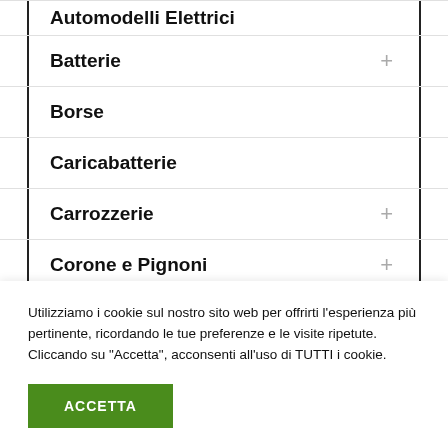Automodelli Elettrici
Batterie
Borse
Caricabatterie
Carrozzerie
Corone e Pignoni
Elettr...
Utilizziamo i cookie sul nostro sito web per offrirti l'esperienza più pertinente, ricordando le tue preferenze e le visite ripetute. Cliccando su "Accetta", acconsenti all'uso di TUTTI i cookie.
ACCETTA